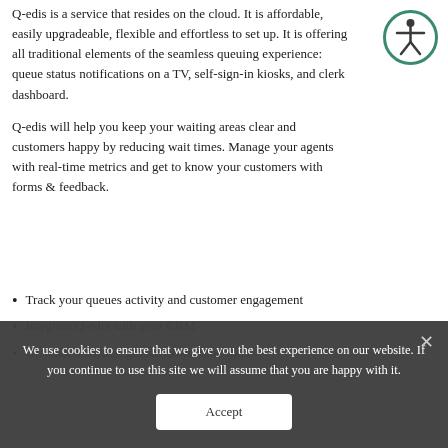Q-edis is a service that resides on the cloud. It is affordable, easily upgradeable, flexible and effortless to set up. It is offering all traditional elements of the seamless queuing experience: queue status notifications on a TV, self-sign-in kiosks, and clerk dashboard.
[Figure (illustration): Accessibility icon: a person figure inside a circle with teal/dark green outline]
Q-edis will help you keep your waiting areas clear and customers happy by reducing wait times. Manage your agents with real-time metrics and get to know your customers with forms & feedback.
Track your queues activity and customer engagement
Integrate Q-edis with your CRM
Granular statistics, global views: time filter
We use cookies to ensure that we give you the best experience on our website. If you continue to use this site we will assume that you are happy with it.